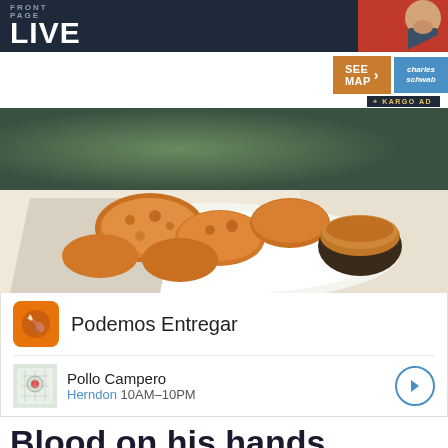FRONT PAGE LIVE
[Figure (photo): Food advertisement showing fried chicken pieces on a plate with dipping sauce, from Pollo Campero]
[Figure (infographic): Restaurant ad card: Podemos Entregar - Pollo Campero, Herndon 10AM-10PM]
Blood on his hands
[Figure (screenshot): Video still from news footage showing people outdoors at night, with a person carrying a rifle, overlaid with RU [Twitter bird] @tariqnasheed label and Front Page Live watermark]